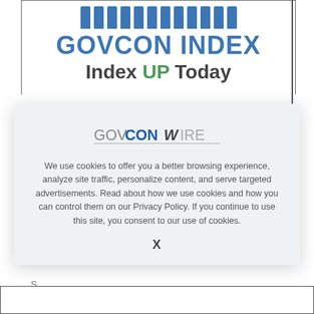[Figure (logo): GovCon Index banner with blue teeth/battlements row at top, large blue bold 'GOVCON INDEX' text, and dark bold 'Index UP Today' text with UP in green]
[Figure (logo): GovConWire logo: GOV in gray, CON in blue bold, WIRE in light gray italic, with horizontal underline]
We use cookies to offer you a better browsing experience, analyze site traffic, personalize content, and serve targeted advertisements. Read about how we use cookies and how you can control them on our Privacy Policy. If you continue to use this site, you consent to our use of cookies.
X